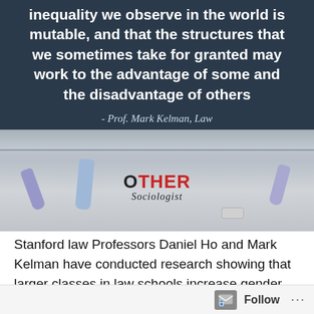[Figure (photo): Dark chalkboard background with bold white quote text: 'inequality we observe in the world is mutable, and that the structures that we sometimes take for granted may work to the advantage of some and the disadvantage of others' attributed to Prof. Mark Kelman, Law. Below is a photo of a chalk ledge with purple and blue chalk pieces and the Other Sociologist logo.]
Stanford law Professors Daniel Ho and Mark Kelman have conducted research showing that larger classes in law schools increase gender inequality. The study has
Follow